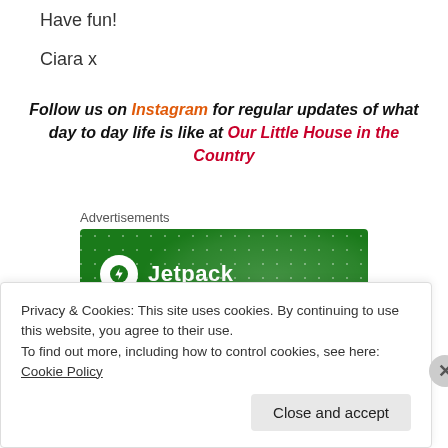Have fun!
Ciara x
Follow us on Instagram for regular updates of what day to day life is like at Our Little House in the Country
Advertisements
[Figure (logo): Jetpack advertisement banner with green background and Jetpack logo with lightning bolt icon]
Privacy & Cookies: This site uses cookies. By continuing to use this website, you agree to their use.
To find out more, including how to control cookies, see here: Cookie Policy
Close and accept